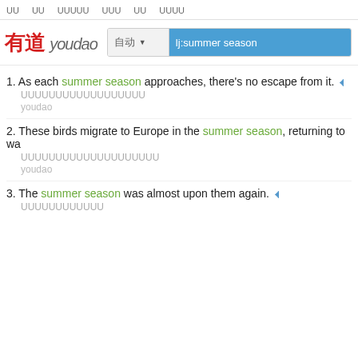UU  UU  UUUUU  UUU  UU  UUUU
[Figure (logo): Youdao dictionary logo with Chinese characters 有道 in red and 'youdao' in grey italic, alongside a search bar with language selector and search field showing 'lj:summer season' highlighted in blue]
1. As each summer season approaches, there's no escape from it. [speaker] [Chinese translation] youdao
2. These birds migrate to Europe in the summer season, returning to wa... [Chinese translation] youdao
3. The summer season was almost upon them again. [speaker] [Chinese translation]